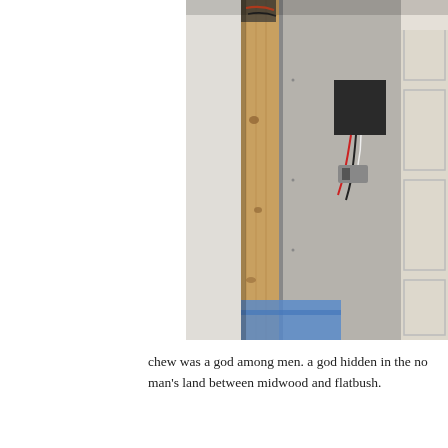[Figure (photo): Indoor construction photo showing wall framing with a wooden stud, exposed drywall, open electrical box with wires, and cabinetry visible to the right. A blue tarp is visible at the bottom.]
chew was a god among men. a god hidden in the no man's land between midwood and flatbush.